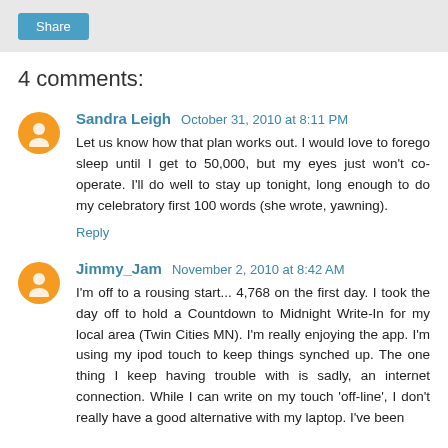[Figure (other): Share button in grey top bar]
4 comments:
Sandra Leigh October 31, 2010 at 8:11 PM
Let us know how that plan works out. I would love to forego sleep until I get to 50,000, but my eyes just won't co-operate. I'll do well to stay up tonight, long enough to do my celebratory first 100 words (she wrote, yawning).
Reply
Jimmy_Jam November 2, 2010 at 8:42 AM
I'm off to a rousing start... 4,768 on the first day. I took the day off to hold a Countdown to Midnight Write-In for my local area (Twin Cities MN). I'm really enjoying the app. I'm using my ipod touch to keep things synched up. The one thing I keep having trouble with is sadly, an internet connection. While I can write on my touch 'off-line', I don't really have a good alternative with my laptop. I've been